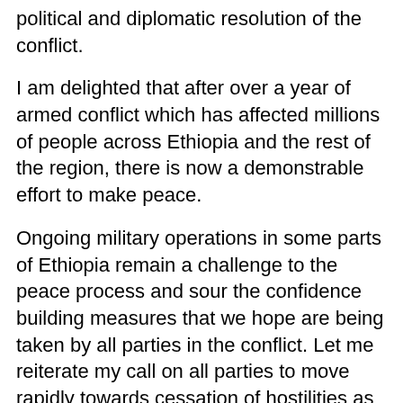political and diplomatic resolution of the conflict.
I am delighted that after over a year of armed conflict which has affected millions of people across Ethiopia and the rest of the region, there is now a demonstrable effort to make peace.
Ongoing military operations in some parts of Ethiopia remain a challenge to the peace process and sour the confidence building measures that we hope are being taken by all parties in the conflict. Let me reiterate my call on all parties to move rapidly towards cessation of hostilities as a critical step in the right direction for peace-making.
The United Nations stands ready to support an all-inclusive and nationally owned dialogue, peace,